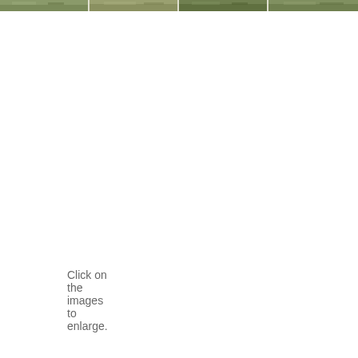[Figure (photo): Strip of four nature/outdoor photographs at the top of the page, partially cropped]
Click on the images to enlarge.